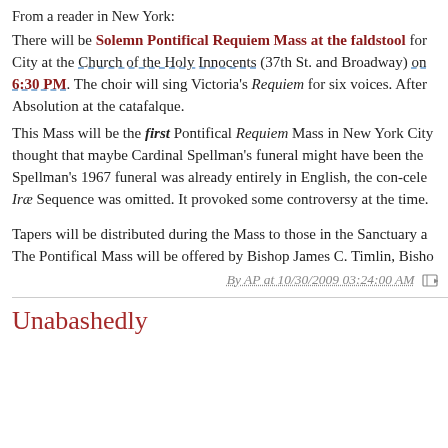From a reader in New York:
There will be Solemn Pontifical Requiem Mass at the faldstool for City at the Church of the Holy Innocents (37th St. and Broadway) on 6:30 PM. The choir will sing Victoria's Requiem for six voices. After Absolution at the catafalque.
This Mass will be the first Pontifical Requiem Mass in New York City thought that maybe Cardinal Spellman's funeral might have been the Spellman's 1967 funeral was already entirely in English, the con-cele Irae Sequence was omitted. It provoked some controversy at the time.
Tapers will be distributed during the Mass to those in the Sanctuary a The Pontifical Mass will be offered by Bishop James C. Timlin, Bisho
By AP at 10/30/2009 03:24:00 AM
Unabashedly